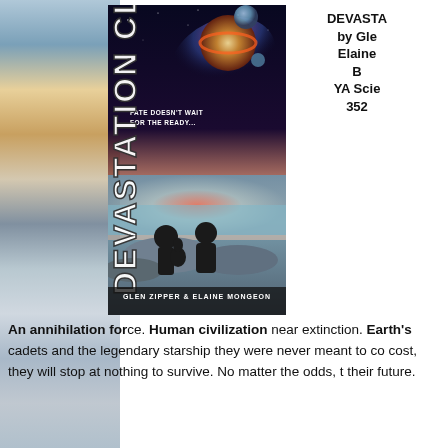[Figure (photo): Book cover of 'Devastation Class' by Glen Zipper and Elaine Mongeon, showing two silhouetted figures sitting on rocks under a dramatic galaxy/planet sky, with the title running vertically in bold white letters and tagline 'FATE DOESN'T WAIT FOR THE READY...' along with a stack of books visible on the left edge.]
DEVASTATION CLASS
by Glen Zipper &
Elaine Mongeon
B
YA Science Fiction
352
An annihilation force. Human civilization near extinction. Earth's cadets and the legendary starship they were never meant to command are all that stand between humanity's survival and its extinction. No matter the cost, they will stop at nothing to survive. No matter the odds, they will fight for their future.